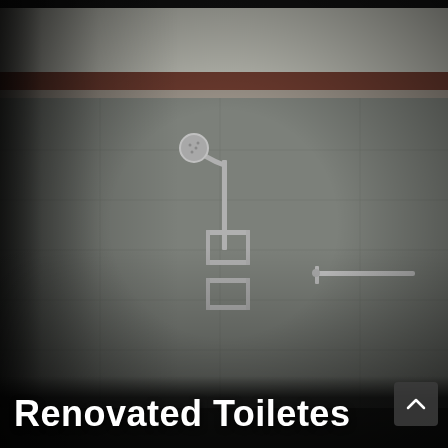[Figure (photo): Interior photo of a renovated bathroom/toilet area. The shower area features light grey tiles with a horizontal brown/burgundy stripe along the upper wall. A chrome shower head and two-tier shelf bracket are mounted on the left wall. A horizontal towel bar extends across the middle. A shower mixer tap with hose is on the lower left. On the right side there is a brightly lit mirror cabinet above a shelf ledge holding toilet paper rolls, a teal cup, and small toiletry bottles. Dark mosaic tiles border the right section. The overall lighting is dim with a bright glare from the mirror area.]
Renovated Toiletes